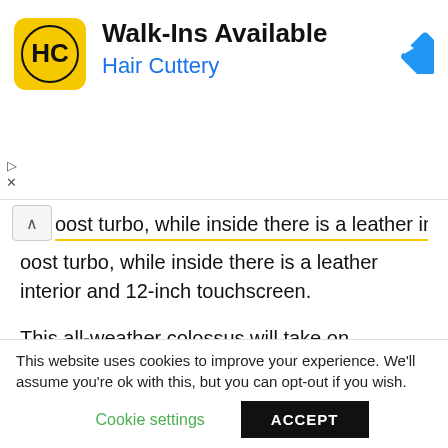[Figure (screenshot): Hair Cuttery advertisement banner with yellow HC logo, 'Walk-Ins Available' headline, 'Hair Cuttery' subtitle in blue, and a blue navigation arrow icon on the right]
...oost turbo, while inside there is a leather interior and 12-inch touchscreen.
This all-weather colossus will take on anything thrown at it, with chunky tyres and sport-tuned suspension doing all the work.
Read More On SE
[Figure (photo): Dark image showing people, possibly at a press event, with numbers visible]
This website uses cookies to improve your experience. We'll assume you're ok with this, but you can opt-out if you wish.
Cookie settings  ACCEPT